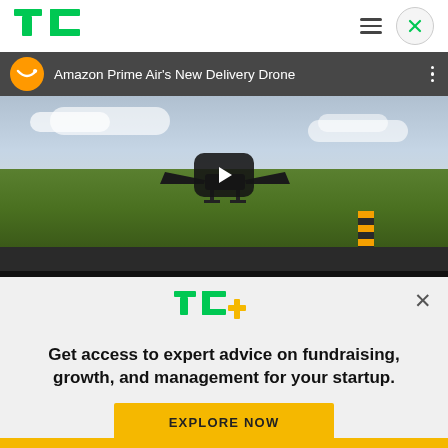TechCrunch logo and navigation
[Figure (screenshot): YouTube video embed showing Amazon Prime Air's New Delivery Drone with a drone flying over a green field. The video has an orange Amazon logo, title text, and a play button overlay.]
[Figure (logo): TechCrunch Plus (TC+) logo in green and yellow]
Get access to expert advice on fundraising, growth, and management for your startup.
EXPLORE NOW